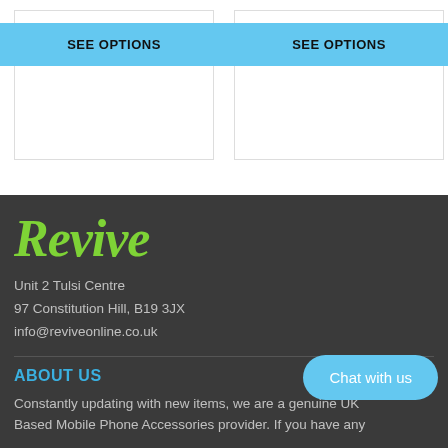[Figure (screenshot): Two product cards each with a blue 'SEE OPTIONS' button]
[Figure (logo): Revive logo in green italic serif font on dark background]
Unit 2 Tulsi Centre
97 Constitution Hill, B19 3JX
info@reviveonline.co.uk
ABOUT US
Constantly updating with new items, we are a genuine UK Based Mobile Phone Accessories provider. If you have any